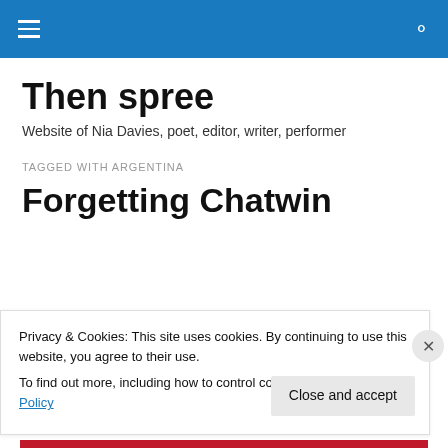Then spree – navigation bar with hamburger menu and search icon
Then spree
Website of Nia Davies, poet, editor, writer, performer
TAGGED WITH ARGENTINA
Forgetting Chatwin
Privacy & Cookies: This site uses cookies. By continuing to use this website, you agree to their use.
To find out more, including how to control cookies, see here: Cookie Policy